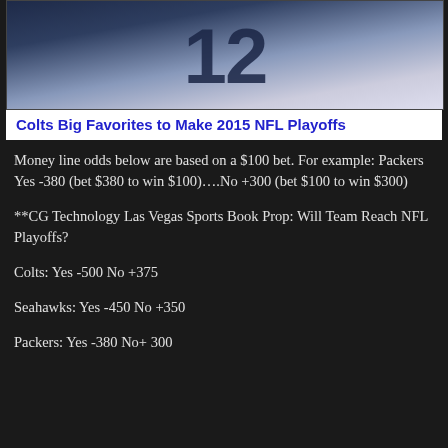[Figure (photo): Football player wearing jersey number 12 in dark uniform]
Colts Big Favorites to Make 2015 NFL Playoffs
Money line odds below are based on a $100 bet. For example: Packers Yes -380 (bet $380 to win $100)....No +300 (bet $100 to win $300)
**CG Technology Las Vegas Sports Book Prop: Will Team Reach NFL Playoffs?
Colts:  Yes -500  No +375
Seahawks:   Yes -450   No +350
Packers:   Yes -380   No+ 300